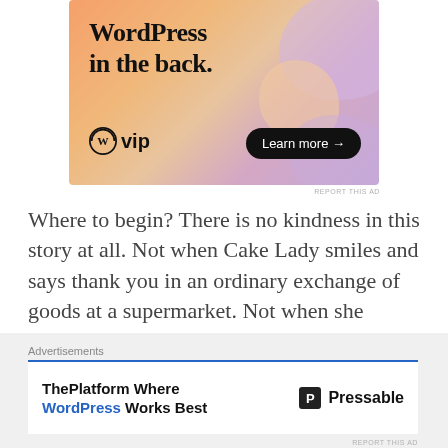[Figure (screenshot): WordPress VIP advertisement banner with colorful blob background, showing text 'WordPress in the back.' with WP VIP logo and 'Learn more →' button]
Where to begin? There is no kindness in this story at all. Not when Cake Lady smiles and says thank you in an ordinary exchange of goods at a supermarket. Not when she laughs behind the bakery worker's back and how bad the cake looks – and not when she decides it is redeemed by comedic value for being so badly done. Not when the other supermarket employees gather around to gawk and not when the
[Figure (screenshot): Pressable / ThePlatform advertisement: 'ThePlatform Where WordPress Works Best' with Pressable logo on right]